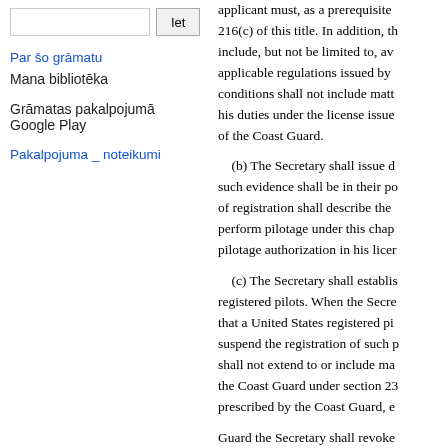[search input] Iet
Par šo grāmatu
Mana bibliotēka
Grāmatas pakalpojumā Google Play
Pakalpojuma _ noteikumi
applicant must, as a prerequisite 216(c) of this title. In addition, the include, but not be limited to, av applicable regulations issued by conditions shall not include matt his duties under the license issue of the Coast Guard.

(b) The Secretary shall issue d such evidence shall be in their po of registration shall describe the perform pilotage under this chap pilotage authorization in his licer

(c) The Secretary shall establis registered pilots. When the Secre that a United States registered pi suspend the registration of such p shall not extend to or include ma the Coast Guard under section 23 prescribed by the Coast Guard, e

Guard the Secretary shall revoke Guard of the name and Coast Gu registration has been revoked or registered pilot whose license h